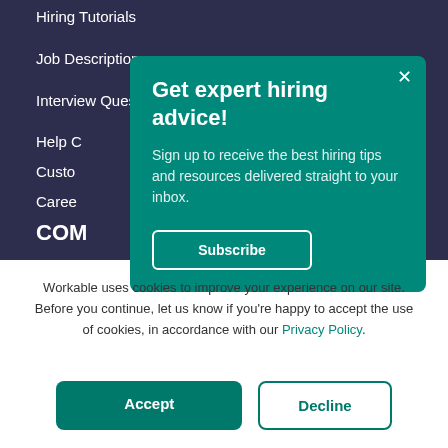Hiring Tutorials
Job Descriptions
Interview Questions
Help C…
Custo…
Caree…
COM
[Figure (screenshot): Modal popup with teal background containing title 'Get expert hiring advice!' and body text 'Sign up to receive the best hiring tips and resources delivered straight to your inbox.' with a Subscribe button and close X button]
Workable uses cookies to improve your experience on our site. Before you continue, let us know if you're happy to accept the use of cookies, in accordance with our Privacy Policy.